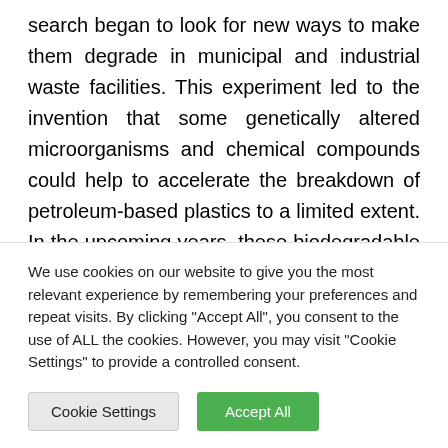search began to look for new ways to make them degrade in municipal and industrial waste facilities. This experiment led to the invention that some genetically altered microorganisms and chemical compounds could help to accelerate the breakdown of petroleum-based plastics to a limited extent. In the upcoming years, these biodegradable polymers can replace conventional polymeric goods in packaging applications. Though it is crucial to characterize the biopolymers permeability to
We use cookies on our website to give you the most relevant experience by remembering your preferences and repeat visits. By clicking "Accept All", you consent to the use of ALL the cookies. However, you may visit "Cookie Settings" to provide a controlled consent.